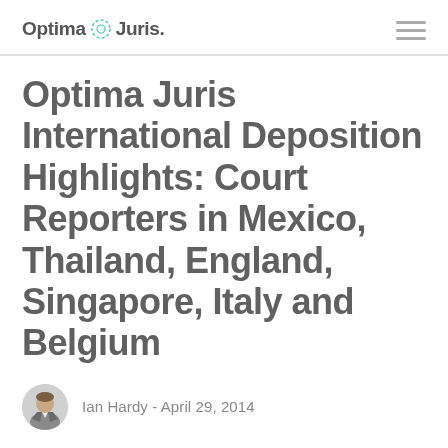Optima Juris
Optima Juris International Deposition Highlights: Court Reporters in Mexico, Thailand, England, Singapore, Italy and Belgium
Ian Hardy - April 29, 2014